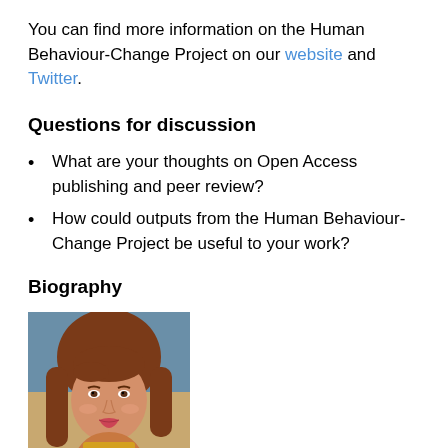You can find more information on the Human Behaviour-Change Project on our website and Twitter.
Questions for discussion
What are your thoughts on Open Access publishing and peer review?
How could outputs from the Human Behaviour-Change Project be useful to your work?
Biography
[Figure (photo): Headshot photo of a young woman with long auburn/brown hair, wearing a colorful outfit, smiling slightly, indoor background]